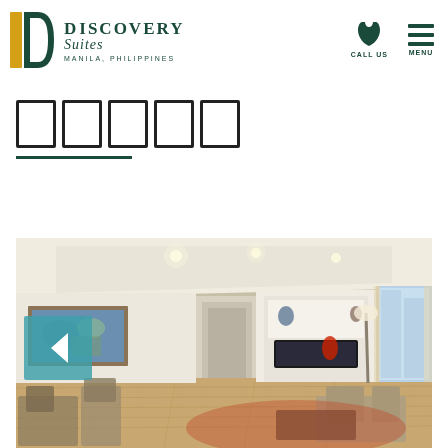[Figure (logo): Discovery Suites Manila, Philippines logo with gold and green D icon]
□□□□□
[Figure (photo): Interior photo of a luxury hotel suite at Discovery Suites Manila, showing a spacious living room with hardwood floors, wall art, built-in shelving with TV, and large windows with city views. A navigation arrow overlay is visible on the left side.]